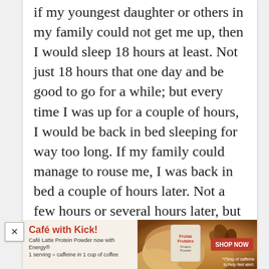if my youngest daughter or others in my family could not get me up, then I would sleep 18 hours at least. Not just 18 hours that one day and be good to go for a while; but every time I was up for a couple of hours, I would be back in bed sleeping for way too long. If my family could manage to rouse me, I was back in bed a couple of hours later. Not a few hours or several hours later, but a couple hours later. My youngest would beg me and cry for me not to go to sleep before she got home from school because she would not get to see me yet again for another day. I slept that long. She was even afraid that one day I
[Figure (infographic): Advertisement banner for 'Café with Kick!' - Café Latte Protein Powder now with Energy. 1 serving = caffeine in 1 cup of coffee. Shows product image and a red 'SHOP NOW' button. Fine print: *75mg of caffeine to help feel alert.]